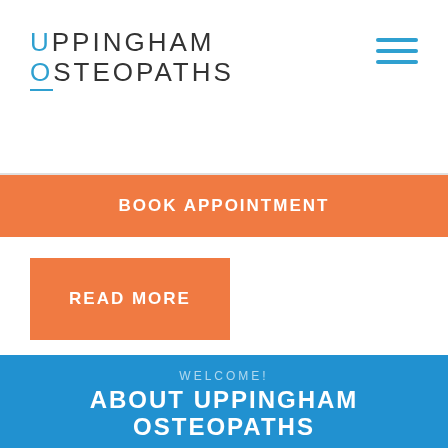[Figure (logo): Uppingham Osteopaths logo with stylized U and O letters in blue, rest of text in dark grey, two lines: UPPINGHAM and OSTEOPATHS]
[Figure (other): Hamburger menu icon with three horizontal blue lines in top right corner]
BOOK APPOINTMENT
READ MORE
WELCOME!
ABOUT UPPINGHAM OSTEOPATHS